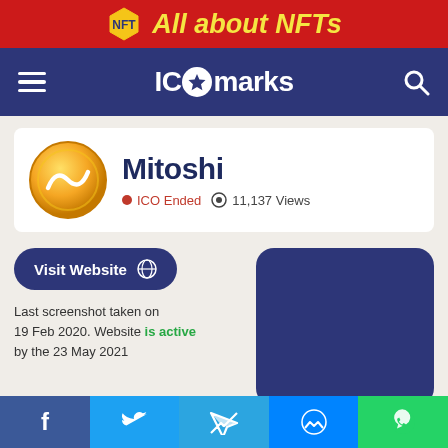All about NFTs
[Figure (screenshot): ICOmarks website navigation bar with hamburger menu, ICOmarks logo with star, and search icon on dark blue background]
[Figure (logo): Mitoshi coin logo - gold circle with wave symbol]
Mitoshi
ICO Ended  11,137 Views
Visit Website
Last screenshot taken on 19 Feb 2020. Website is active by the 23 May 2021
[Figure (screenshot): Blue/dark rounded rectangle placeholder for Mitoshi website screenshot]
Add to Watchlist
Facebook  Twitter  Telegram  Messenger  WhatsApp